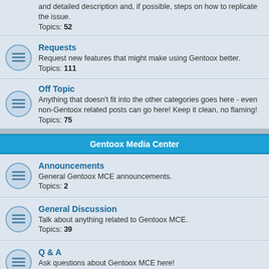and detailed description and, if possible, steps on how to replicate the issue. Topics: 52
Requests — Request new features that might make using Gentoox better. Topics: 111
Off Topic — Anything that doesn't fit into the other categories goes here - even non-Gentoox related posts can go here! Keep it clean, no flaming! Topics: 75
Gentoox Media Center
Announcements — General Gentoox MCE announcements. Topics: 2
General Discussion — Talk about anything related to Gentoox MCE. Topics: 39
Q & A — Ask questions about Gentoox MCE here! Topics: 96
Bugs — Post information here about bugs - please remember to provide an accurate and detailed description and, if possible, steps on how to replicate the issue. Topics: 4
Requests and Suggestions — Request new features that might make Gentoox MCE better. Topics: 14